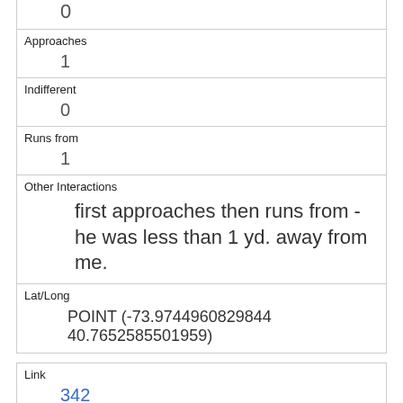| 0 |
| Approaches | 1 |
| Indifferent | 0 |
| Runs from | 1 |
| Other Interactions | first approaches then runs from - he was less than 1 yd. away from me. |
| Lat/Long | POINT (-73.9744960829844 40.7652585501959) |
| Link | 342 |
| rowid | 342 |
| longitude | -73.9605966636226 |
| latitude | 40.7889849100863704 |